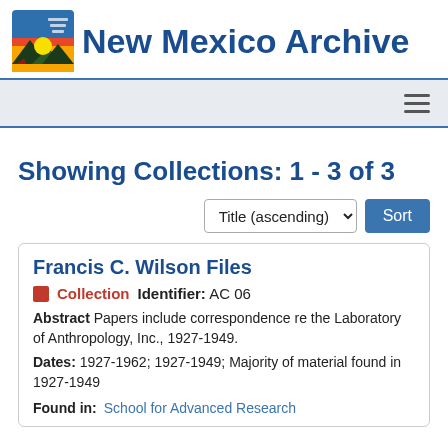New Mexico Archive
Showing Collections: 1 - 3 of 3
Title (ascending) Sort
Francis C. Wilson Files
Collection   Identifier: AC 06
Abstract Papers include correspondence re the Laboratory of Anthropology, Inc., 1927-1949.
Dates: 1927-1962; 1927-1949; Majority of material found in 1927-1949
Found in: School for Advanced Research